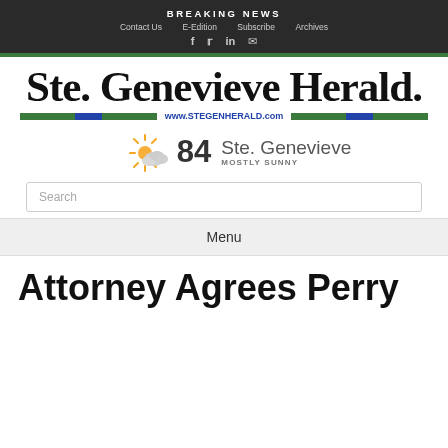BREAKING NEWS
Contact Us   E-Edition   Subscribe   Archives
[Figure (logo): Ste. Genevieve Herald newspaper logo in blackletter font with www.STEGENHERALD.com URL bar]
[Figure (infographic): Weather widget showing 84 degrees, Ste. Genevieve, MOSTLY SUNNY with partly cloudy sun icon]
Search
Menu
Attorney Agrees Perry